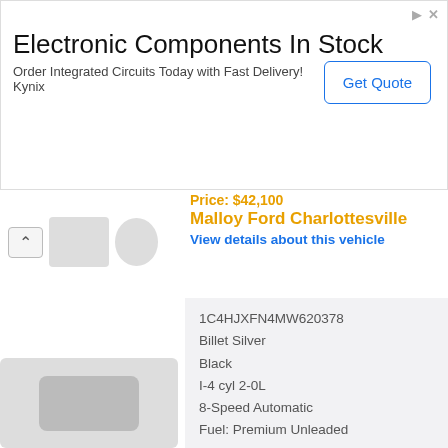[Figure (screenshot): Advertisement banner for Electronic Components with Get Quote button]
Electronic Components In Stock
Order Integrated Circuits Today with Fast Delivery! Kynix
Malloy Ford Charlottesville
View details about this vehicle
| 1C4HJXFN4MW620378 |
| Billet Silver |
| Black |
| I-4 cyl 2-0L |
| 8-Speed Automatic |
| Fuel: Premium Unleaded |
View Details »
Location: Winchester, VA 22601
Jeep Wrangler
Price: $42,888